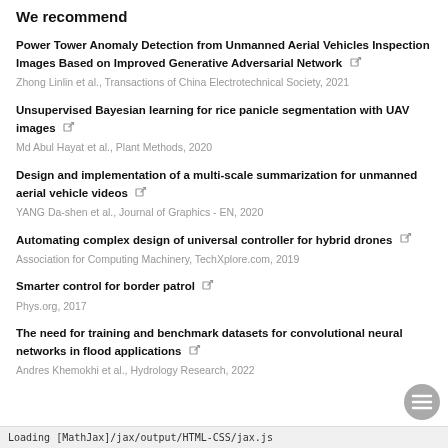We recommend
Power Tower Anomaly Detection from Unmanned Aerial Vehicles Inspection Images Based on Improved Generative Adversarial Network
Zhong Linlin et al., Transactions of China Electrotechnical Society, 2021
Unsupervised Bayesian learning for rice panicle segmentation with UAV images
Md Abul Hayat et al., Plant Methods, 2020
Design and implementation of a multi-scale summarization for unmanned aerial vehicle videos
YANG Da-shen et al., Journal of Graphics - EN, 2020
Automating complex design of universal controller for hybrid drones
Association for Computing Machinery, TechXplore.com, 2019
Smarter control for border patrol
Phys.org, 2017
The need for training and benchmark datasets for convolutional neural networks in flood applications
Andres Khemokhi et al., Hydrology Research, 2022
Loading [MathJax]/jax/output/HTML-CSS/jax.js